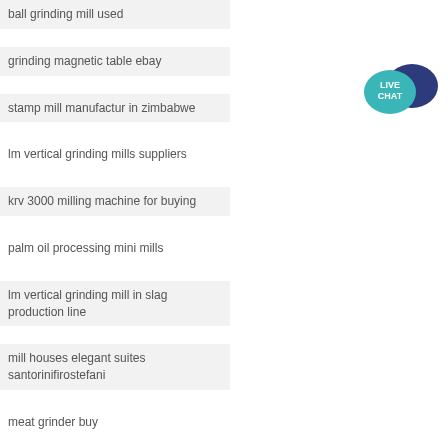ball grinding mill used
grinding magnetic table ebay
stamp mill manufactur in zimbabwe
lm vertical grinding mills suppliers
krv 3000 milling machine for buying
palm oil processing mini mills
lm vertical grinding mill in slag production line
mill houses elegant suites santorinifirostefani
meat grinder buy
grinder machine sale in philippines
[Figure (illustration): Live Chat button with speech bubble icon in teal and dark blue]